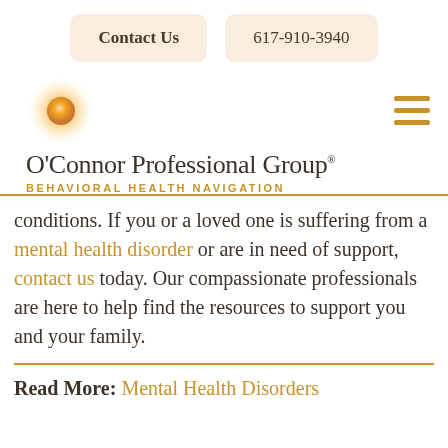Contact Us | 617-910-3940
[Figure (logo): O'Connor Professional Group logo with sun/orb graphic and text 'O'Connor Professional Group' and subtitle 'BEHAVIORAL HEALTH NAVIGATION']
conditions. If you or a loved one is suffering from a mental health disorder or are in need of support, contact us today. Our compassionate professionals are here to help find the resources to support you and your family.
Read More: Mental Health Disorders